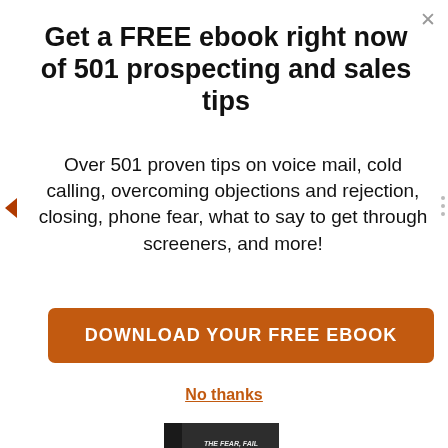Get a FREE ebook right now of 501 prospecting and sales tips
Over 501 proven tips on voice mail, cold calling, overcoming objections and rejection, closing, phone fear, what to say to get through screeners, and more!
DOWNLOAD YOUR FREE EBOOK
No thanks
[Figure (photo): Book cover: The Fear, Failure and Rejection from Cold Calling / Cold Cutting]